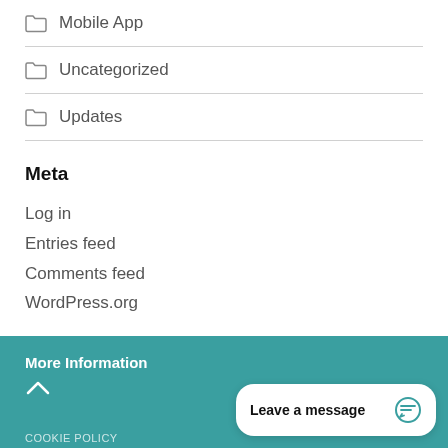Mobile App
Uncategorized
Updates
Meta
Log in
Entries feed
Comments feed
WordPress.org
More Information
COOKIE POLICY
Leave a message